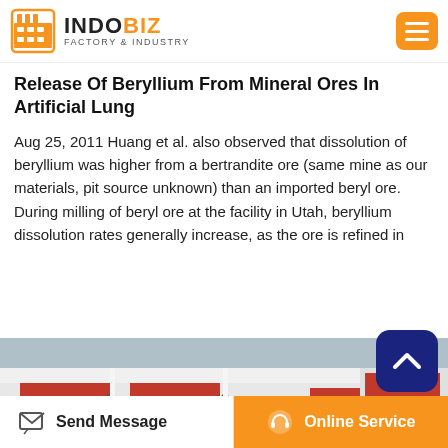INDOBIZ FACTORY & INDUSTRY
Release Of Beryllium From Mineral Ores In Artificial Lung
Aug 25, 2011 Huang et al. also observed that dissolution of beryllium was higher from a bertrandite ore (same mine as our materials, pit source unknown) than an imported beryl ore. During milling of beryl ore at the facility in Utah, beryllium dissolution rates generally increase, as the ore is refined in
[Figure (photo): Industrial machinery — white and red metal equipment with multiple compartments, bolts, and components visible in a factory setting.]
Send Message | Online Service